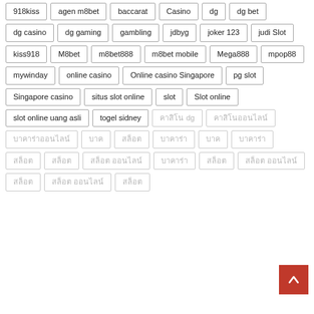918kiss
agen m8bet
baccarat
Casino
dg
dg bet
dg casino
dg gaming
gambling
jdbyg
joker 123
judi Slot
kiss918
M8bet
m8bet888
m8bet mobile
Mega888
mpop88
mywinday
online casino
Online casino Singapore
pg slot
Singapore casino
situs slot online
slot
Slot online
slot online uang asli
togel sidney
คาสิโน dg
คาสิโนออนไลน์
บาคาร่าออนไลน์
บาค
สล็อต
สล็อต
บาค
บาคาร่า
สล็อต
สล็อต ออนไลน์
สล็อต
สล็อต
สล็อต
สล็อต ออนไลน์
สล็อต